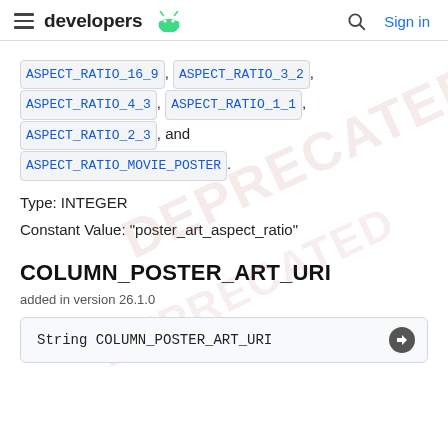developers [android logo] | Sign in
ASPECT_RATIO_16_9, ASPECT_RATIO_3_2, ASPECT_RATIO_4_3, ASPECT_RATIO_1_1, ASPECT_RATIO_2_3, and ASPECT_RATIO_MOVIE_POSTER.
Type: INTEGER
Constant Value: "poster_art_aspect_ratio"
COLUMN_POSTER_ART_URI
added in version 26.1.0
String COLUMN_POSTER_ART_URI